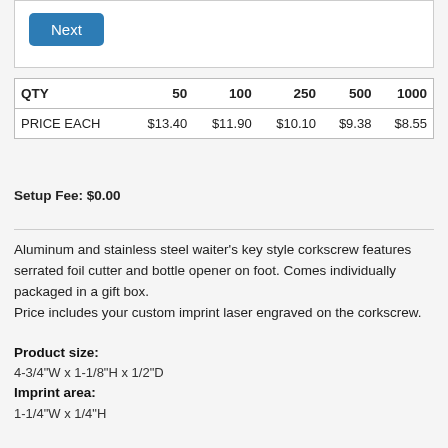Next
| QTY | 50 | 100 | 250 | 500 | 1000 |
| --- | --- | --- | --- | --- | --- |
| PRICE EACH | $13.40 | $11.90 | $10.10 | $9.38 | $8.55 |
Setup Fee: $0.00
Aluminum and stainless steel waiter's key style corkscrew features serrated foil cutter and bottle opener on foot. Comes individually packaged in a gift box. Price includes your custom imprint laser engraved on the corkscrew.
Product size:
4-3/4"W x 1-1/8"H x 1/2"D
Imprint area:
1-1/4"W x 1/4"H